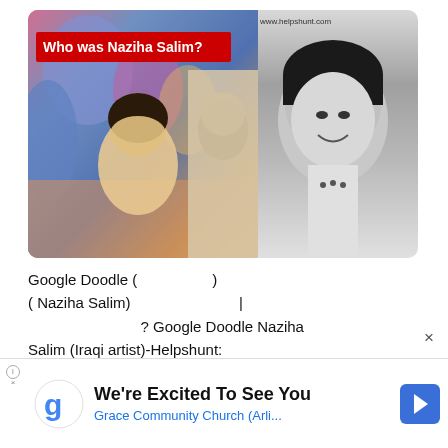[Figure (photo): Composite image showing a Google Doodle with 'Who was Naziha Salim?' text on red banner, colorful painting on left side, sketch in center, black-and-white photo of Naziha Salim on right. Website www.helpshunt.com shown in top right.]
Google Doodle (                    )
( Naziha Salim)                              |
                              ? Google Doodle Naziha
Salim (Iraqi artist)-Helpshunt:
×
[Figure (infographic): Advertisement banner: Google 'g' logo on left, text 'We're Excited To See You / Grace Community Church (Arli...' with blue navigation arrow icon on right. Info icon and X symbol at bottom left.]